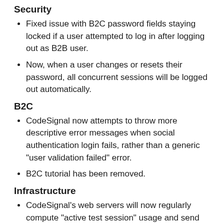Security
Fixed issue with B2C password fields staying locked if a user attempted to log in after logging out as B2B user.
Now, when a user changes or resets their password, all concurrent sessions will be logged out automatically.
B2C
CodeSignal now attempts to throw more descriptive error messages when social authentication login fails, rather than a generic "user validation failed" error.
B2C tutorial has been removed.
Infrastructure
CodeSignal's web servers will now regularly compute "active test session" usage and send